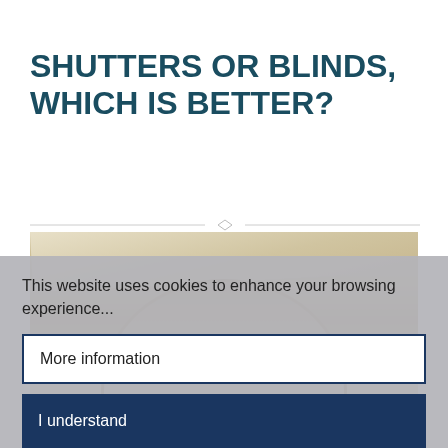SHUTTERS OR BLINDS, WHICH IS BETTER?
[Figure (photo): Interior photo showing a room with a curved arch window, warm beige walls and ceiling with diagonal angle, arch window with shutters visible at the bottom.]
This website uses cookies to enhance your browsing experience...
More information
I understand